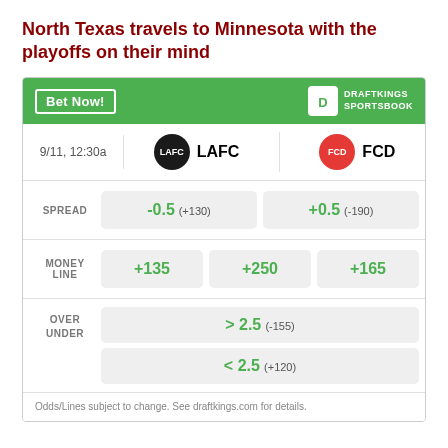North Texas travels to Minnesota with the playoffs on their mind
|  | LAFC | FCD |
| --- | --- | --- |
| SPREAD | -0.5 (+130) | +0.5 (-190) |
| MONEY LINE | +135 | +250 / +165 |
| OVER UNDER | > 2.5 (-155) | < 2.5 (+120) |
Odds/Lines subject to change. See draftkings.com for details.